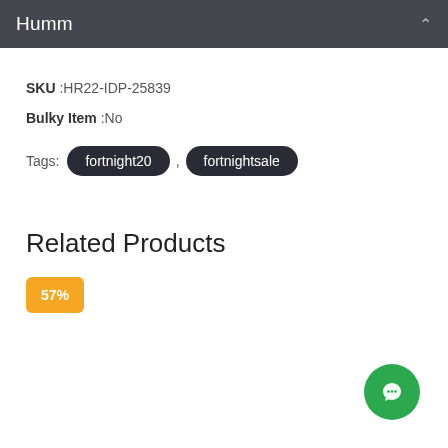Humm
SKU :HR22-IDP-25839
Bulky Item :No
Tags: fortnight20 , fortnightsale
Related Products
57%